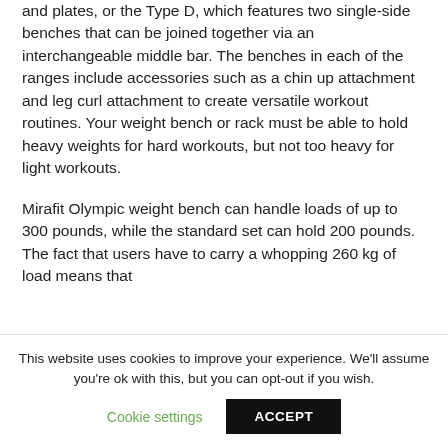and plates, or the Type D, which features two single-side benches that can be joined together via an interchangeable middle bar. The benches in each of the ranges include accessories such as a chin up attachment and leg curl attachment to create versatile workout routines. Your weight bench or rack must be able to hold heavy weights for hard workouts, but not too heavy for light workouts.
Mirafit Olympic weight bench can handle loads of up to 300 pounds, while the standard set can hold 200 pounds. The fact that users have to carry a whopping 260 kg of load means that
This website uses cookies to improve your experience. We'll assume you're ok with this, but you can opt-out if you wish.
Cookie settings   ACCEPT